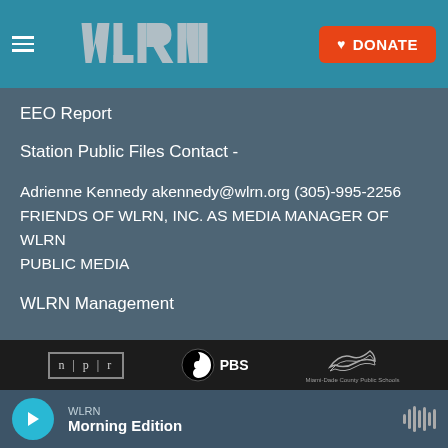[Figure (screenshot): WLRN navigation bar with hamburger menu, WLRN logo, and orange DONATE button]
EEO Report
Station Public Files Contact -
Adrienne Kennedy akennedy@wlrn.org (305)-995-2256
FRIENDS OF WLRN, INC. AS MEDIA MANAGER OF WLRN PUBLIC MEDIA
WLRN Management
[Figure (logo): NPR logo]
[Figure (logo): PBS logo]
[Figure (logo): Miami-Dade County Public Schools logo]
[Figure (logo): CPB (Corporation for Public Broadcasting) logo]
WLRN
Morning Edition